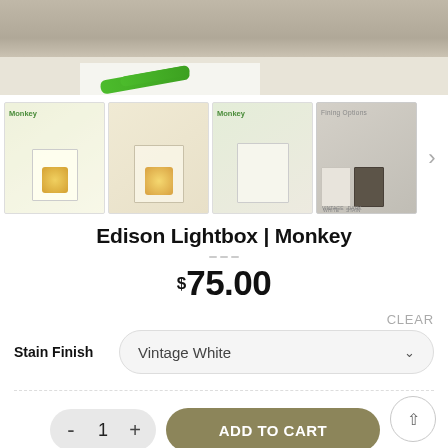[Figure (photo): Main product photo showing craft table with green scissors and craft supplies]
[Figure (photo): Four product thumbnail images: (1) Edison Lightbox Monkey glowing in white frame, (2) lightbox on desk, (3) lightbox with colorful pencils, (4) Finishing Options showing stain choices including vintage white and dark stain]
Edison Lightbox | Monkey
$75.00
CLEAR
Stain Finish
Vintage White
1
ADD TO CART